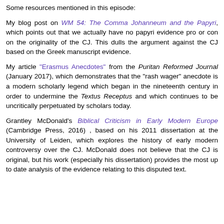Some resources mentioned in this episode:
My blog post on WM 54: The Comma Johanneum and the Papyri, which points out that we actually have no papyri evidence pro or con on the originality of the CJ. This dulls the argument against the CJ based on the Greek manuscript evidence.
My article "Erasmus Anecdotes" from the Puritan Reformed Journal (January 2017), which demonstrates that the "rash wager" anecdote is a modern scholarly legend which began in the nineteenth century in order to undermine the Textus Receptus and which continues to be uncritically perpetuated by scholars today.
Grantley McDonald's Biblical Criticism in Early Modern Europe (Cambridge Press, 2016) , based on his 2011 dissertation at the University of Leiden, which explores the history of early modern controversy over the CJ. McDonald does not believe that the CJ is original, but his work (especially his dissertation) provides the most up to date analysis of the evidence relating to this disputed text.